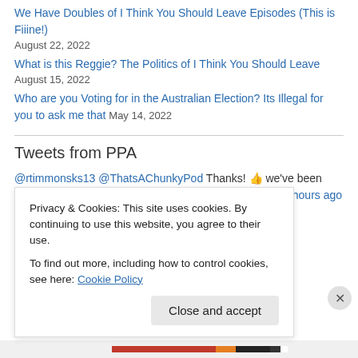We Have Doubles of I Think You Should Leave Episodes (This is Fiiine!) August 22, 2022
What is this Reggie? The Politics of I Think You Should Leave August 15, 2022
Who are you Voting for in the Australian Election? Its Illegal for you to ask me that May 14, 2022
Tweets from PPA
@rtimmonsks13 @ThatsAChunkyPod Thanks! 👍 we've been enjoying getting super nerdy about the show 🤔 nick 16 hours ago
@... @ThatsAChunkyPod ... the Show...
Privacy & Cookies: This site uses cookies. By continuing to use this website, you agree to their use.
To find out more, including how to control cookies, see here: Cookie Policy